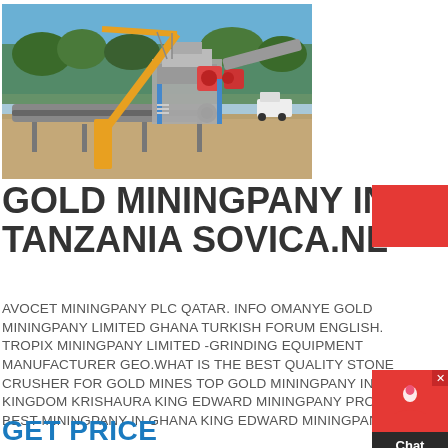[Figure (photo): Outdoor mining facility with yellow crane, conveyor belts, crusher equipment on gravel ground with blue sky and trees in background]
GOLD MININGPANY IN TANZANIA SOVICA.NL
AVOCET MININGPANY PLC QATAR. INFO OMANYE GOLD MININGPANY LIMITED GHANA TURKISH FORUM ENGLISH. TROPIX MININGPANY LIMITED -GRINDING EQUIPMENT MANUFACTURER GEO.WHAT IS THE BEST QUALITY STONE CRUSHER FOR GOLD MINES TOP GOLD MININGPANY IN UNITED KINGDOM KRISHAURA KING EDWARD MININGPANY PRODUCT BEST MININGPANY IN GHANA KING EDWARD MININGPANY.
GET PRICE